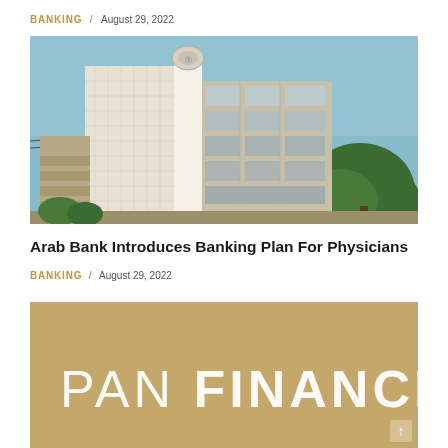BANKING / August 29, 2022
[Figure (photo): Exterior photo of a modern glass and concrete bank building with a logo on top, blue sky and trees in the background]
Arab Bank Introduces Banking Plan For Physicians
BANKING / August 29, 2022
[Figure (photo): Gold/tan colored background with white text reading PAN FINANCE]